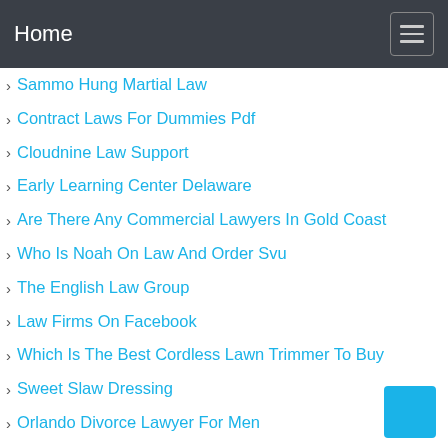Home
Sammo Hung Martial Law
Contract Laws For Dummies Pdf
Cloudnine Law Support
Early Learning Center Delaware
Are There Any Commercial Lawyers In Gold Coast
Who Is Noah On Law And Order Svu
The English Law Group
Law Firms On Facebook
Which Is The Best Cordless Lawn Trimmer To Buy
Sweet Slaw Dressing
Orlando Divorce Lawyer For Men
Kevin Jones Law
Solomon Law Firm Reviews